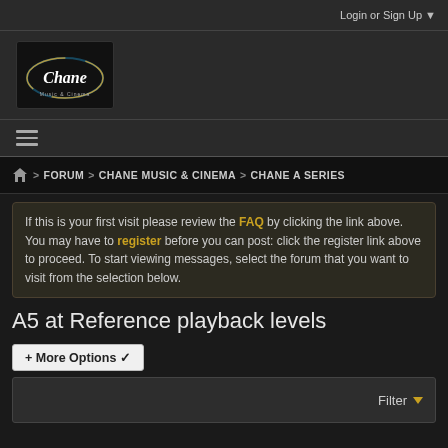Login or Sign Up ▼
[Figure (logo): Chane Music & Cinema logo, oval shape on black background]
≡ (hamburger menu icon)
🏠 > FORUM > CHANE MUSIC & CINEMA > CHANE A SERIES
If this is your first visit please review the FAQ by clicking the link above. You may have to register before you can post: click the register link above to proceed. To start viewing messages, select the forum that you want to visit from the selection below.
A5 at Reference playback levels
+ More Options ✓
Filter ▼